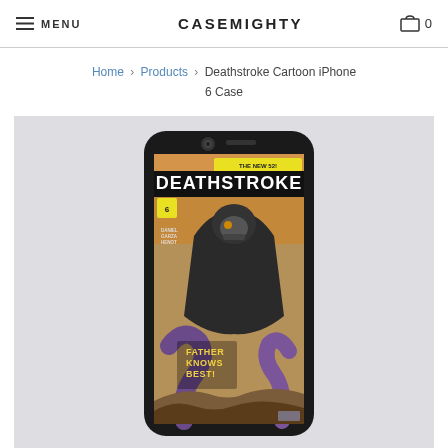MENU   CASEMIGHTY   0
Home › Products › Deathstroke Cartoon iPhone 6 Case
[Figure (photo): Product photo of a phone case featuring Deathstroke comic book art. The case shows a Deathstroke comic cover with 'DEATHSTROKE' text at top, 'THE NEW 52!' label, issue number 6, 'DANIEL / GARZA / HENOT' credits, and 'FATHER KNOWS BEST!' text. The case is displayed against a light grey background.]